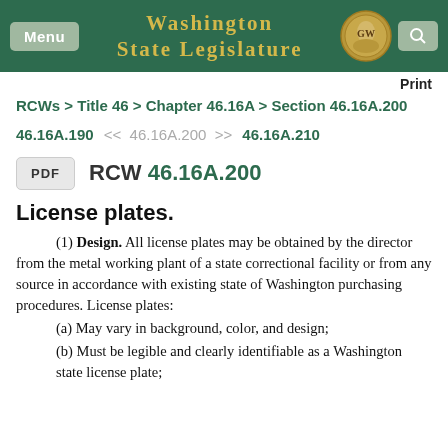[Figure (screenshot): Washington State Legislature header bar with Menu button, title, seal, and search icon]
Print
RCWs > Title 46 > Chapter 46.16A > Section 46.16A.200
46.16A.190  <<  46.16A.200  >>  46.16A.210
PDF   RCW 46.16A.200
License plates.
(1) Design. All license plates may be obtained by the director from the metal working plant of a state correctional facility or from any source in accordance with existing state of Washington purchasing procedures. License plates:
(a) May vary in background, color, and design;
(b) Must be legible and clearly identifiable as a Washington state license plate;